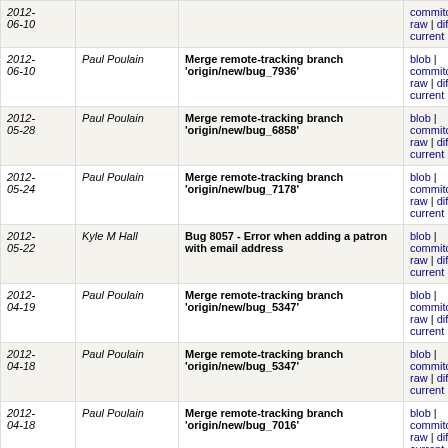| Date | Author | Message | Links |
| --- | --- | --- | --- |
| 2012-06-10 |  |  | commitdiff | raw | diff to current |
| 2012-06-10 | Paul Poulain | Merge remote-tracking branch 'origin/new/bug_7936' | blob | commitdiff | raw | diff to current |
| 2012-05-28 | Paul Poulain | Merge remote-tracking branch 'origin/new/bug_6858' | blob | commitdiff | raw | diff to current |
| 2012-05-24 | Paul Poulain | Merge remote-tracking branch 'origin/new/bug_7178' | blob | commitdiff | raw | diff to current |
| 2012-05-22 | Kyle M Hall | Bug 8057 - Error when adding a patron with email address | blob | commitdiff | raw | diff to current |
| 2012-04-19 | Paul Poulain | Merge remote-tracking branch 'origin/new/bug_5347' | blob | commitdiff | raw | diff to current |
| 2012-04-18 | Paul Poulain | Merge remote-tracking branch 'origin/new/bug_5347' | blob | commitdiff | raw | diff to current |
| 2012-04-18 | Paul Poulain | Merge remote-tracking branch 'origin/new/bug_7016' | blob | commitdiff | raw | diff to current |
| 2012-04-06 | Paul Poulain | Merge remote-tracking branch 'origin/new/bug_7310' | blob | commitdiff | raw | diff to current |
| 2012-04-06 | Paul Poulain | Merge remote-tracking branch 'origin/new/bug_7143' | blob | commitdiff | raw | diff to current |
| 2012-04-04 | Paul Poulain | Merge remote-tracking branch 'origin/new/bug_7394' | blob | commitdiff |